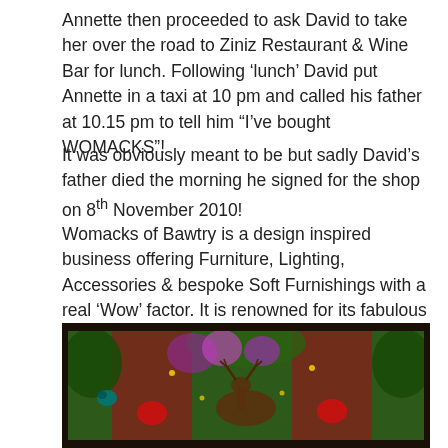Annette then proceeded to ask David to take her over the road to Ziniz Restaurant & Wine Bar for lunch. Following ‘lunch’ David put Annette in a taxi at 10 pm and called his father at 10.15 pm to tell him “I’ve bought WOMACKS”!
It was obviously meant to be but sadly David’s father died the morning he signed for the shop on 8th November 2010!
Womacks of Bawtry is a design inspired business offering Furniture, Lighting, Accessories & bespoke Soft Furnishings with a real ‘Wow’ factor. It is renowned for its fabulous Showroom & Courtyard and at Christmas people flock for miles to see their stunning Christmas Window which would rival displays in any major city including London.
[Figure (photo): A colourful Christmas window display at Womacks of Bawtry, showing a decorated scene with reindeer, greenery, red decorations, purple/pink lights, and festive ornaments viewed through a dark-framed window.]